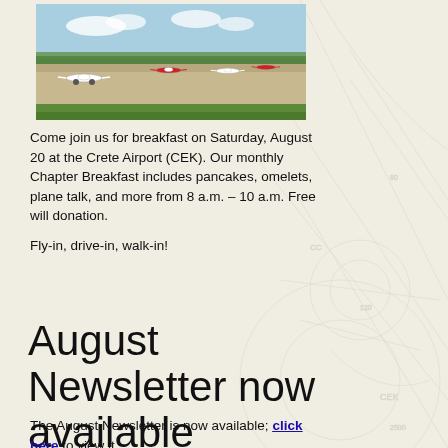[Figure (photo): Aerial/ground-level photo of small propeller aircraft parked on a tarmac at a general aviation airport with green grass and trees in background under blue sky]
Come join us for breakfast on Saturday, August 20 at the Crete Airport (CEK). Our monthly Chapter Breakfast includes pancakes, omelets, plane talk, and more from 8 a.m. – 10 a.m. Free will donation.
Fly-in, drive-in, walk-in!
August Newsletter now available
The August Newsletter is now available; click here to view it.